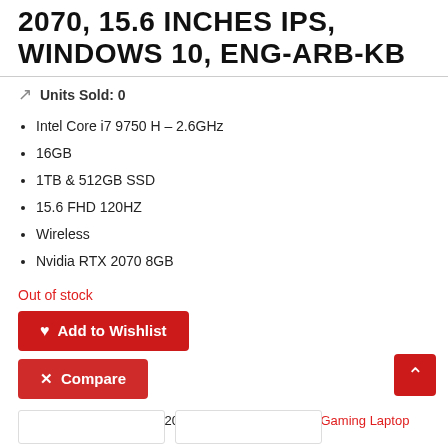2070, 15.6 INCHES IPS, WINDOWS 10, ENG-ARB-KB
Units Sold: 0
Intel Core i7 9750 H – 2.6GHz
16GB
1TB & 512GB SSD
15.6 FHD 120HZ
Wireless
Nvidia RTX 2070 8GB
Out of stock
Add to Wishlist
Compare
SKU: ASUS G531GW-AL203T-STRIX G  Category: Gaming Laptop